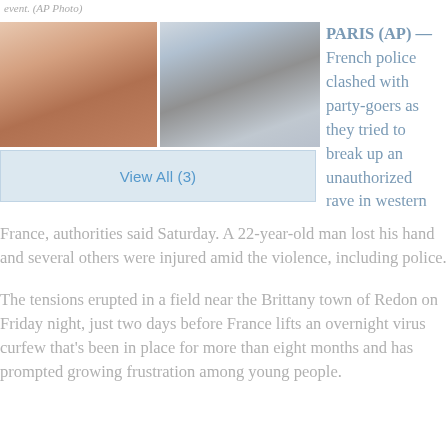event. (AP Photo)
[Figure (photo): Two side-by-side nighttime outdoor photos showing a large gathering/rave scene, left photo shows warm orange/amber light glow, right photo shows dark field with faint structures]
View All (3)
PARIS (AP) — French police clashed with party-goers as they tried to break up an unauthorized rave in western France, authorities said Saturday. A 22-year-old man lost his hand and several others were injured amid the violence, including police.
The tensions erupted in a field near the Brittany town of Redon on Friday night, just two days before France lifts an overnight virus curfew that's been in place for more than eight months and has prompted growing frustration among young people.